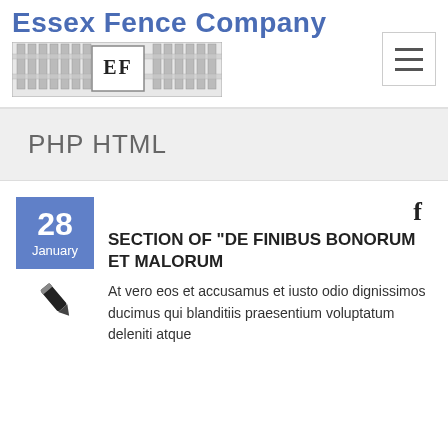Essex Fence Company
[Figure (logo): Essex Fence Company logo with fence image and EF initials, plus hamburger menu button]
PHP HTML
28 January
[Figure (illustration): Pencil/edit icon]
SECTION OF “DE FINIBUS BONORUM ET MALORUM
At vero eos et accusamus et iusto odio dignissimos ducimus qui blanditiis praesentium voluptatum deleniti atque